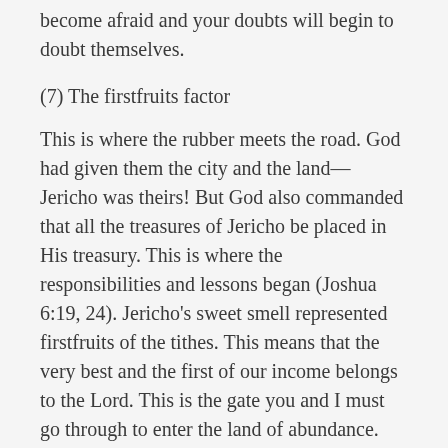become afraid and your doubts will begin to doubt themselves.
(7) The firstfruits factor
This is where the rubber meets the road. God had given them the city and the land—Jericho was theirs! But God also commanded that all the treasures of Jericho be placed in His treasury. This is where the responsibilities and lessons began (Joshua 6:19, 24). Jericho's sweet smell represented firstfruits of the tithes. This means that the very best and the first of our income belongs to the Lord. This is the gate you and I must go through to enter the land of abundance. The truth is: no man commanded us to tithe; God commanded it! But you must be careful that you do not choose the path of Achan who